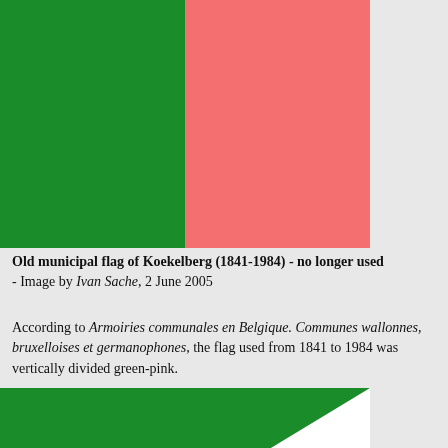[Figure (illustration): Flag of Koekelberg 1841-1984: vertically divided green (left half) and pink/salmon (right half) rectangle]
Old municipal flag of Koekelberg (1841-1984) - no longer used - Image by Ivan Sache, 2 June 2005
According to Armoiries communales en Belgique. Communes wallonnes, bruxelloises et germanophones, the flag used from 1841 to 1984 was vertically divided green-pink.
[Figure (illustration): Another flag design: green field with white triangular pennant/swallowtail shape pointing right, on white background]